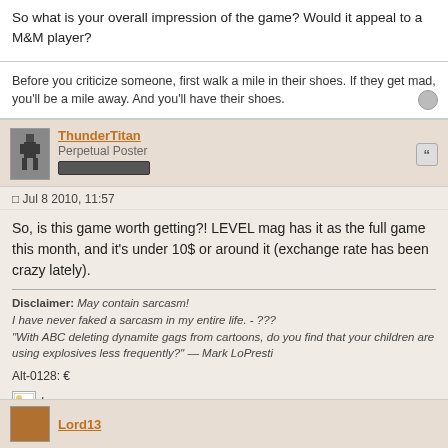So what is your overall impression of the game? Would it appeal to a M&M player?
Before you criticize someone, first walk a mile in their shoes. If they get mad, you'll be a mile away. And you'll have their shoes.
ThunderTitan
Perpetual Poster
Jul 8 2010, 11:57
So, is this game worth getting?! LEVEL mag has it as the full game this month, and it's under 10$ or around it (exchange rate has been crazy lately).
Disclaimer: May contain sarcasm!
I have never faked a sarcasm in my entire life. - ???
"With ABC deleting dynamite gags from cartoons, do you find that your children are using explosives less frequently?" — Mark LoPresti

Alt-0128: €
[Figure (other): Image placeholder icon]
Lord13